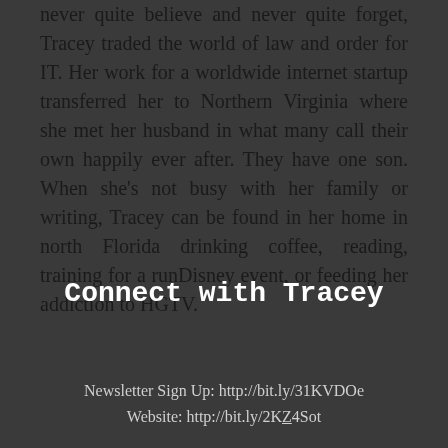never quite believe and never quite forget, Tracey traded the world of law and order for IT. Her work for a worldwide internet startup transferred her to Northern Virginia where she met her husband in what many call their own happily ever after. They have one son. When she's not busy with her family or writing, Tracey can be found in her home in north Florida drinking coffee, reading, training for a runDisney event, or feeding her addiction to HGTV.
Connect with Tracey
Newsletter Sign Up: http://bit.ly/31KVDOe
Website: http://bit.ly/2KZ4Sot